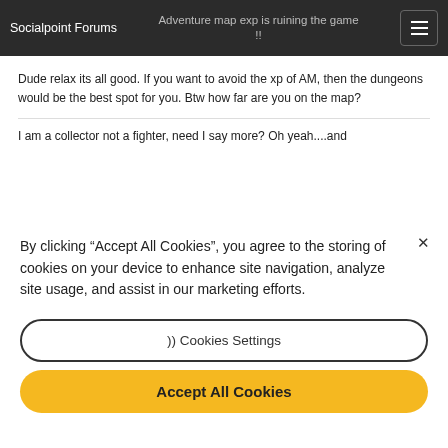Socialpoint Forums — Adventure map exp is ruining the game !!
Dude relax its all good. If you want to avoid the xp of AM, then the dungeons would be the best spot for you. Btw how far are you on the map?
I am a collector not a fighter, need I say more? Oh yeah....and
By clicking “Accept All Cookies”, you agree to the storing of cookies on your device to enhance site navigation, analyze site usage, and assist in our marketing efforts.
)) Cookies Settings
Accept All Cookies